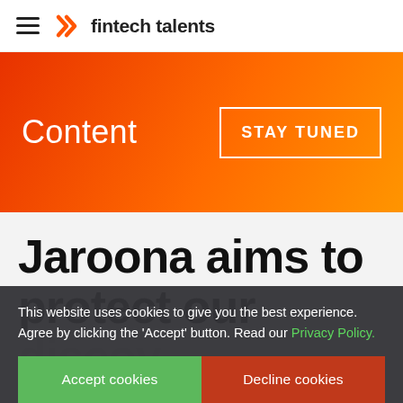≡ fintech talents
[Figure (screenshot): Orange gradient banner with 'Content' label on the left and 'STAY TUNED' button on the right]
Content
Jaroona aims to protect our
This website uses cookies to give you the best experience. Agree by clicking the 'Accept' button. Read our Privacy Policy.
Accept cookies | Decline cookies